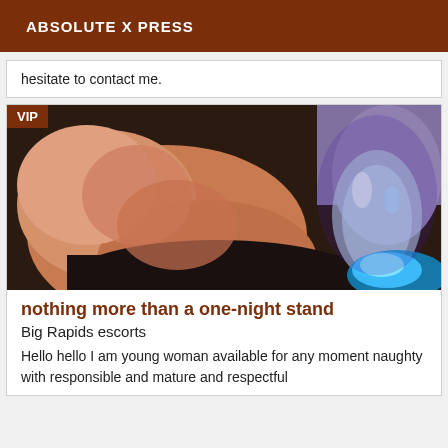ABSOLUTE X PRESS
hesitate to contact me.
[Figure (photo): Close-up photo of a person holding a glowing blue crystal object, dark ambient lighting. VIP badge in top-left corner.]
nothing more than a one-night stand
Big Rapids escorts
Hello hello I am young woman available for any moment naughty with responsible and mature and respectful